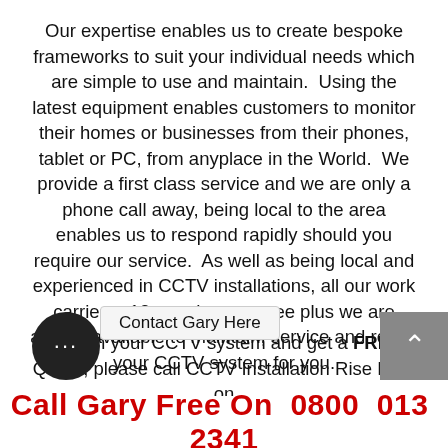Our expertise enables us to create bespoke frameworks to suit your individual needs which are simple to use and maintain.  Using the latest equipment enables customers to monitor their homes or businesses from their phones, tablet or PC, from anyplace in the World.  We provide a first class service and we are only a phone call away, being local to the area enables us to respond rapidly should you require our service.  As well as being local and experienced in CCTV installations, all our work carries a 12 month guarantee plus we are always available to maintain, service and repair your CCTV system for you.
To plan your CCTV system and get a FREE Quote, please call CCTV Installation Rise Park on
Contact Gary Here
Call Gary Free On 0800 013 2341